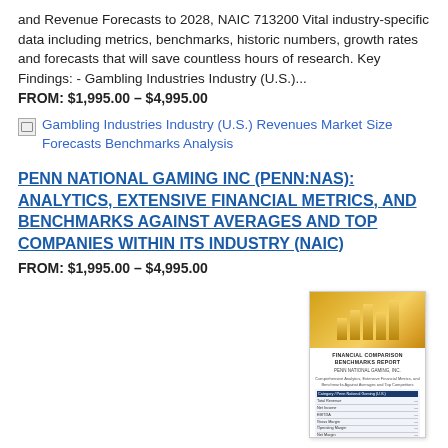and Revenue Forecasts to 2028, NAIC 713200 Vital industry-specific data including metrics, benchmarks, historic numbers, growth rates and forecasts that will save countless hours of research. Key Findings: - Gambling Industries Industry (U.S.)...
FROM: $1,995.00 – $4,995.00
[Figure (other): Broken image icon followed by link text: Gambling Industries Industry (U.S.) Revenues Market Size Forecasts Benchmarks Analysis]
PENN NATIONAL GAMING INC (PENN:NAS): ANALYTICS, EXTENSIVE FINANCIAL METRICS, AND BENCHMARKS AGAINST AVERAGES AND TOP COMPANIES WITHIN ITS INDUSTRY (NAIC)
FROM: $1,995.00 – $4,995.00
[Figure (screenshot): Thumbnail image of a financial report cover page showing gold bar chart graphic at the top and tabular financial data below, with report title text.]